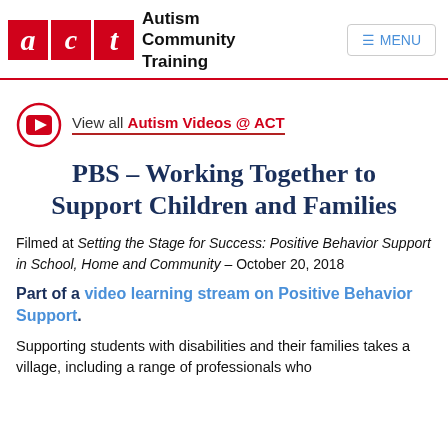Autism Community Training — ACT | MENU
[Figure (logo): ACT logo with red boxes containing italic letters a, c, t and text 'Autism Community Training']
View all Autism Videos @ ACT
PBS – Working Together to Support Children and Families
Filmed at Setting the Stage for Success: Positive Behavior Support in School, Home and Community – October 20, 2018
Part of a video learning stream on Positive Behavior Support.
Supporting students with disabilities and their families takes a village, including a range of professionals who